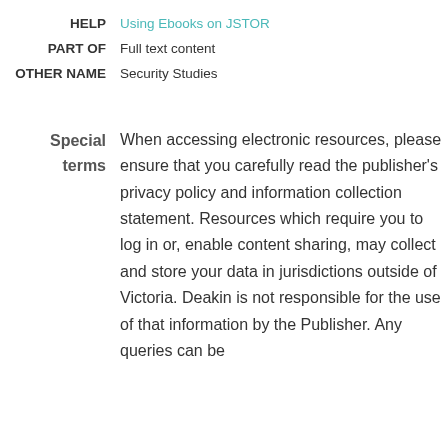HELP  Using Ebooks on JSTOR
PART OF  Full text content
OTHER NAME  Security Studies
Special terms  When accessing electronic resources, please ensure that you carefully read the publisher's privacy policy and information collection statement. Resources which require you to log in or, enable content sharing, may collect and store your data in jurisdictions outside of Victoria. Deakin is not responsible for the use of that information by the Publisher. Any queries can be